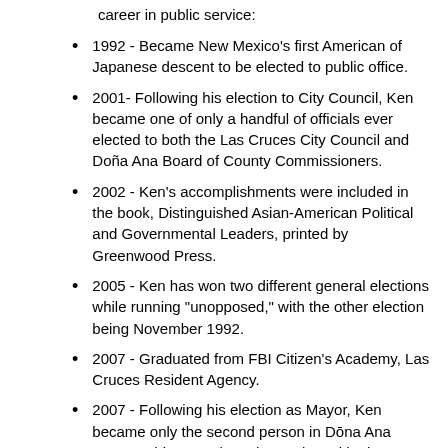career in public service:
1992 - Became New Mexico's first American of Japanese descent to be elected to public office.
2001- Following his election to City Council, Ken became one of only a handful of officials ever elected to both the Las Cruces City Council and Doña Ana Board of County Commissioners.
2002 - Ken's accomplishments were included in the book, Distinguished Asian-American Political and Governmental Leaders, printed by Greenwood Press.
2005 - Ken has won two different general elections while running "unopposed," with the other election being November 1992.
2007 - Graduated from FBI Citizen's Academy, Las Cruces Resident Agency.
2007 - Following his election as Mayor, Ken became only the second person in Dōna Ana County's history to have been elected both Chairman of the Dōna Ana County Commission and the Mayor of Las Cruces.